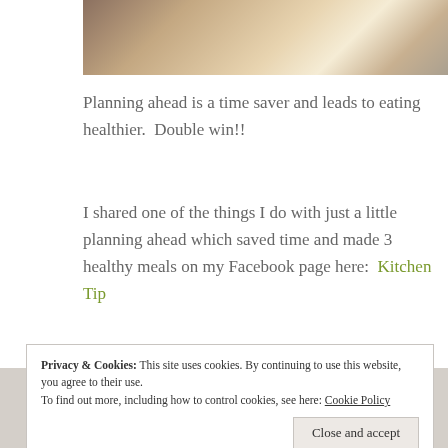[Figure (photo): Partial photo of food/kitchen item, cropped at top of page]
Planning ahead is a time saver and leads to eating healthier.  Double win!!
I shared one of the things I do with just a little planning ahead which saved time and made 3 healthy meals on my Facebook page here:  Kitchen Tip
Privacy & Cookies: This site uses cookies. By continuing to use this website, you agree to their use. To find out more, including how to control cookies, see here: Cookie Policy
Close and accept
COMMENTS